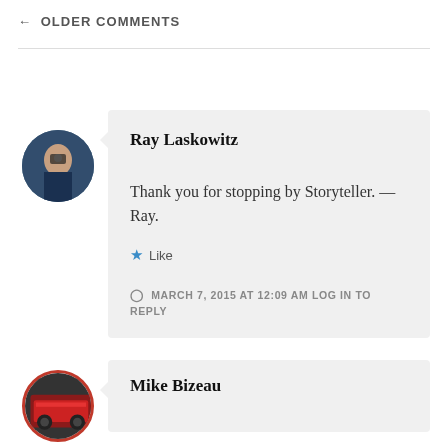← OLDER COMMENTS
Ray Laskowitz
Thank you for stopping by Storyteller. — Ray.
★ Like
MARCH 7, 2015 AT 12:09 AM LOG IN TO REPLY
Mike Bizeau